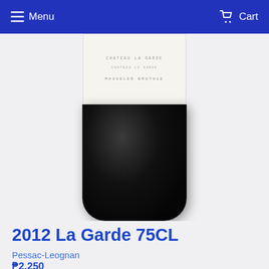Menu   Cart
[Figure (photo): A wine bottle showing the lower portion with a white label reading 'CHATEAU LA GARDE' and 'PESSAC-LEOGNAN' and 'MAGGELER BRUTHIE', with a dark black bottle body below the label, cropped to show only the middle and bottom portion of the bottle against a light gray background.]
2012 La Garde 75CL
Pessac-Leognan
₱2,250